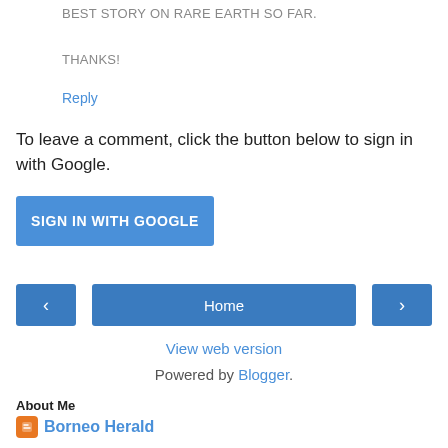BEST STORY ON RARE EARTH SO FAR.
THANKS!
Reply
To leave a comment, click the button below to sign in with Google.
SIGN IN WITH GOOGLE
[Figure (other): Navigation row with left arrow button, Home button, and right arrow button]
View web version
Powered by Blogger.
About Me
Borneo Herald
View my complete profile